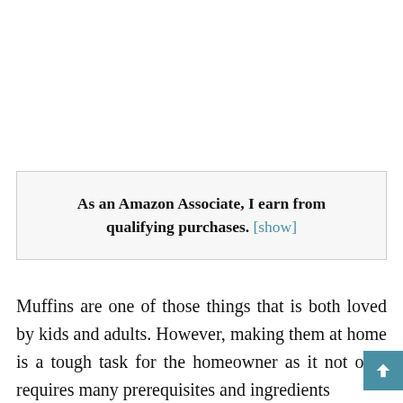As an Amazon Associate, I earn from qualifying purchases. [show]
Muffins are one of those things that is both loved by kids and adults. However, making them at home is a tough task for the homeowner as it not only requires many prerequisites and ingredients